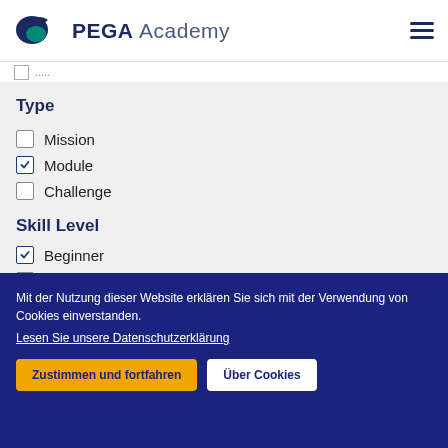PEGA Academy
Type
Mission (unchecked)
Module (checked)
Challenge (unchecked)
Skill Level
Beginner (checked)
Intermediate (unchecked)
Mit der Nutzung dieser Website erklären Sie sich mit der Verwendung von Cookies einverstanden. Lesen Sie unsere Datenschutzerklärung
Zustimmen und fortfahren | Über Cookies